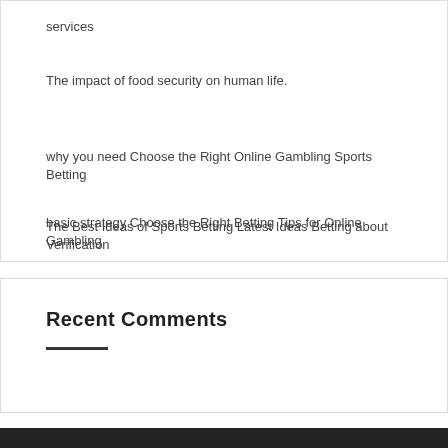services
The impact of food security on human life.
why you need Choose the Right Online Gambling Sports Betting
basic strategy Choose the Right Betting Tips for Online Gambling
The Best Ideas of Sports Betting Latest Ideas Betting about Verification
Recent Comments